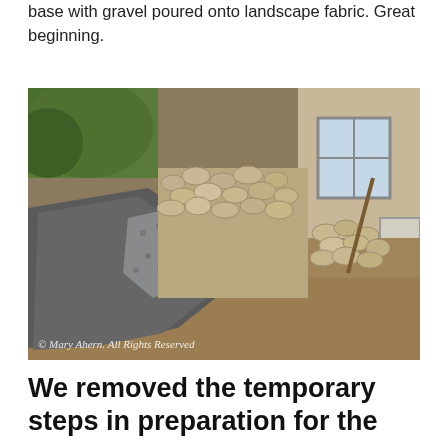base with gravel poured onto landscape fabric. Great beginning.
[Figure (photo): Outdoor construction scene showing landscape fabric laid on dirt ground with gravel poured onto it in the foreground, and a stone/rock retaining wall or pathway in the background near a house with a window and door. Green foliage visible in upper left. Watermark reads: © Mary Ahern. All Rights Reserved]
We removed the temporary steps in preparation for the